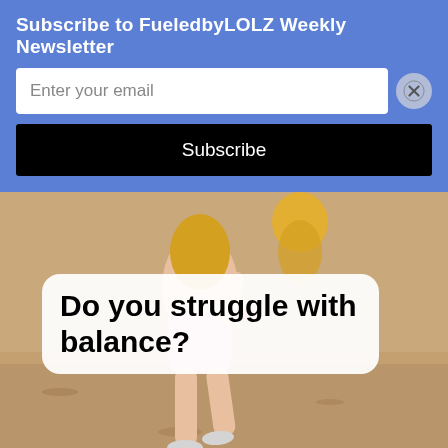Subscribe to FueledbyLOLZ Weekly Newsletter
Enter your email
Subscribe
[Figure (photo): A runner wearing pink shorts and a yellow top running outdoors on a dirt/desert terrain, with a speech bubble overlay reading 'Do you struggle with balance?']
Do you struggle with balance?